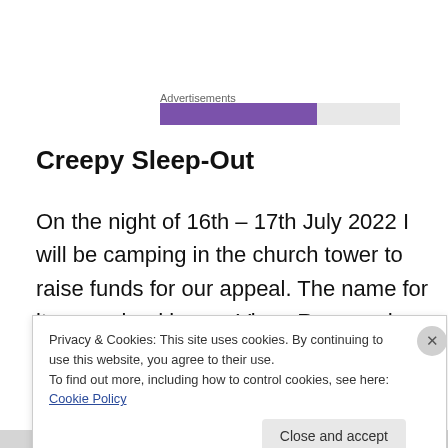Advertisements
[Figure (other): Progress bar style advertisement placeholder: purple bar on left, gray bar on right]
Creepy Sleep-Out
On the night of 16th – 17th July 2022 I will be camping in the church tower to raise funds for our appeal. The name for it was coined by our Vicar, Reverend Leigh Winsbury, who of course has to give permission for such japes on his
Privacy & Cookies: This site uses cookies. By continuing to use this website, you agree to their use.
To find out more, including how to control cookies, see here: Cookie Policy
Close and accept